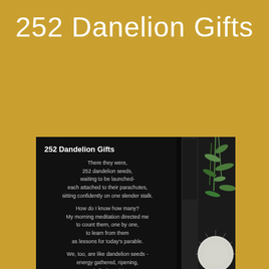252 Danelion Gifts
[Figure (illustration): Book or card preview panel with black background showing poem text on left and dandelion/plant photo on right]
252 Dandelion Gifts
There they were,
252 dandelion seeds,
waiting to be launched-
each attached to their parachutes,
sitting confidently on one slender stalk.
How do I know how many?
My morning meditation directed me
to count them, one by one,
to learn from them
as lessons for today's parable.
We, too, are like dandelion seeds -
energy gathered, ripening,
ready for launching,
to land amongst the thistles